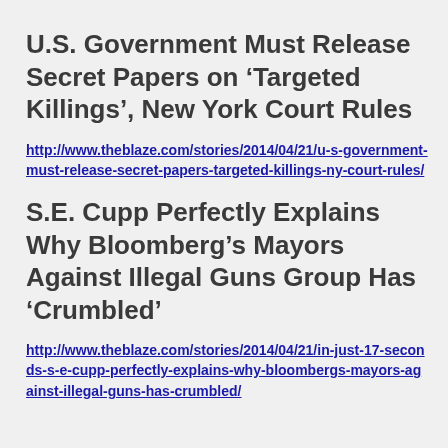U.S. Government Must Release Secret Papers on ‘Targeted Killings’, New York Court Rules
http://www.theblaze.com/stories/2014/04/21/u-s-government-must-release-secret-papers-targeted-killings-ny-court-rules/
S.E. Cupp Perfectly Explains Why Bloomberg’s Mayors Against Illegal Guns Group Has ‘Crumbled’
http://www.theblaze.com/stories/2014/04/21/in-just-17-seconds-s-e-cupp-perfectly-explains-why-bloombergs-mayors-against-illegal-guns-has-crumbled/